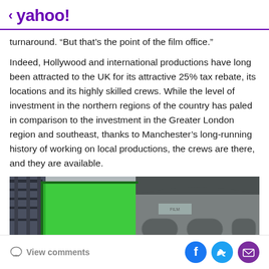< yahoo!
turnaround. “But that’s the point of the film office.”
Indeed, Hollywood and international productions have long been attracted to the UK for its attractive 25% tax rebate, its locations and its highly skilled crews. While the level of investment in the northern regions of the country has paled in comparison to the investment in the Greater London region and southeast, thanks to Manchester’s long-running history of working on local productions, the crews are there, and they are available.
[Figure (photo): A green screen setup in an urban environment, with dark architectural facade visible in the background. Industrial scaffolding and green chroma-key material on the left side.]
View comments